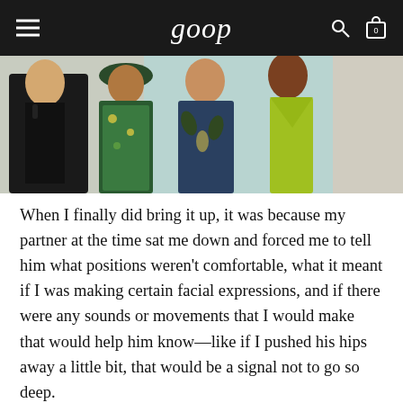goop
[Figure (photo): Four women posing together in colorful summer outfits; a GANNI brand advertisement image with the GANNI logo text on the right side]
When I finally did bring it up, it was because my partner at the time sat me down and forced me to tell him what positions weren't comfortable, what it meant if I was making certain facial expressions, and if there were any sounds or movements that I would make that would help him know—like if I pushed his hips away a little bit, that would be a signal not to go so deep.
In those moments I felt I couldn't advocate for myself, when I didn't have the confidence to believe in